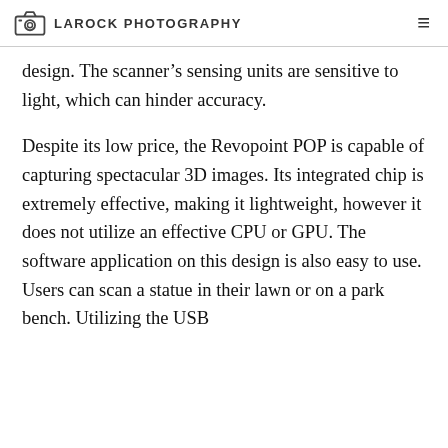LAROCK PHOTOGRAPHY
design. The scanner’s sensing units are sensitive to light, which can hinder accuracy.
Despite its low price, the Revopoint POP is capable of capturing spectacular 3D images. Its integrated chip is extremely effective, making it lightweight, however it does not utilize an effective CPU or GPU. The software application on this design is also easy to use. Users can scan a statue in their lawn or on a park bench. Utilizing the USB